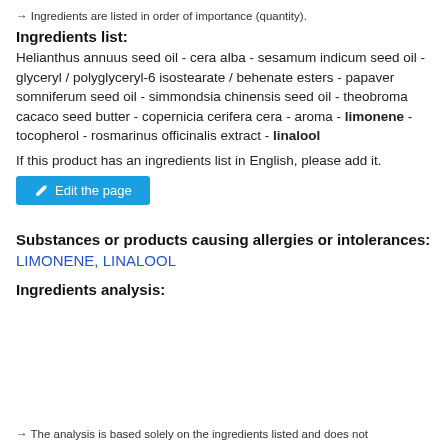→ Ingredients are listed in order of importance (quantity).
Ingredients list:
Helianthus annuus seed oil - cera alba - sesamum indicum seed oil - glyceryl / polyglyceryl-6 isostearate / behenate esters - papaver somniferum seed oil - simmondsia chinensis seed oil - theobroma cacaco seed butter - copernicia cerifera cera - aroma - limonene - tocopherol - rosmarinus officinalis extract - linalool
If this product has an ingredients list in English, please add it.
[Figure (other): Blue 'Edit the page' button with pencil icon]
Substances or products causing allergies or intolerances: LIMONENE, LINALOOL
Ingredients analysis:
→ The analysis is based solely on the ingredients listed and does not